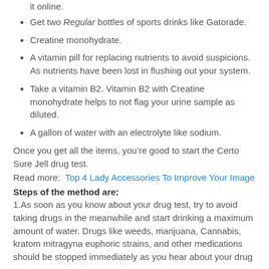it online.
Get two Regular bottles of sports drinks like Gatorade.
Creatine monohydrate.
A vitamin pill for replacing nutrients to avoid suspicions. As nutrients have been lost in flushing out your system.
Take a vitamin B2. Vitamin B2 with Creatine monohydrate helps to not flag your urine sample as diluted.
A gallon of water with an electrolyte like sodium.
Once you get all the items, you’re good to start the Certo Sure Jell drug test.
Read more:  Top 4 Lady Accessories To Improve Your Image
Steps of the method are:
1.As soon as you know about your drug test, try to avoid taking drugs in the meanwhile and start drinking a maximum amount of water. Drugs like weeds, marijuana, Cannabis, kratom mitragyna euphoric strains, and other medications should be stopped immediately as you hear about your drug